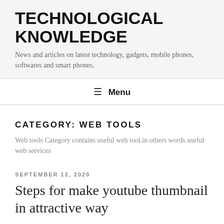TECHNOLOGICAL KNOWLEDGE
News and articles on latest technology, gadgets, mobile phones, softwares and smart phones.
≡ Menu
CATEGORY: WEB TOOLS
Web tools Category contains useful web tool.in others words useful web services
SEPTEMBER 12, 2020
Steps for make youtube thumbnail in attractive way